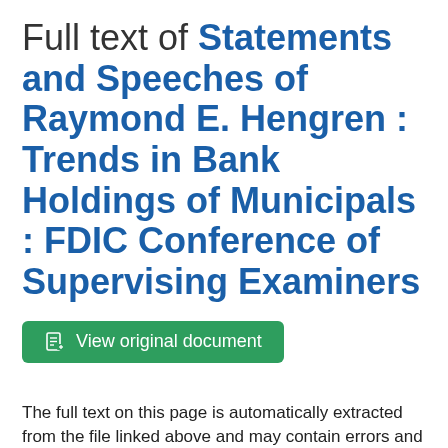Full text of Statements and Speeches of Raymond E. Hengren : Trends in Bank Holdings of Municipals : FDIC Conference of Supervising Examiners
View original document
The full text on this page is automatically extracted from the file linked above and may contain errors and inconsistencies.
FEDERAL DEPOSIT INSURANCE CORPORATION